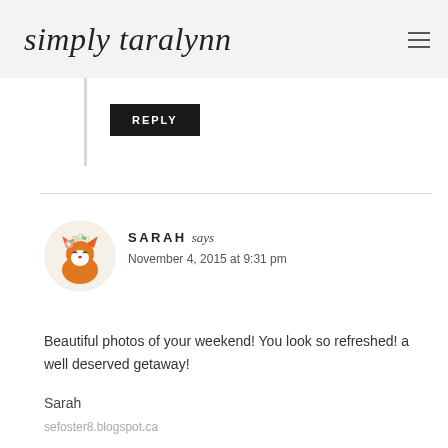simply taralynn
[Figure (other): Black REPLY button on comment thread]
[Figure (illustration): Fox avatar with flower crown, circular icon for commenter Sarah]
SARAH says
November 4, 2015 at 9:31 pm
Beautiful photos of your weekend! You look so refreshed! a well deserved getaway!
Sarah
sefoster8.blogspot.ca